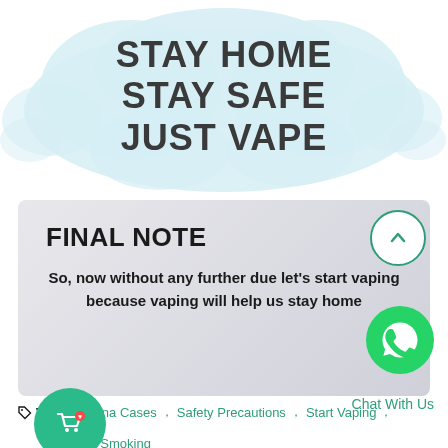[Figure (illustration): Cloud-shaped speech bubble with light blue background containing bold dark text: STAY HOME / STAY SAFE / JUST VAPE]
FINAL NOTE
So, now without any further due let's start vaping because vaping will help us stay home
Tags: Corona Cases, Safety Precautions, Start Vaping,
Stop Smoking